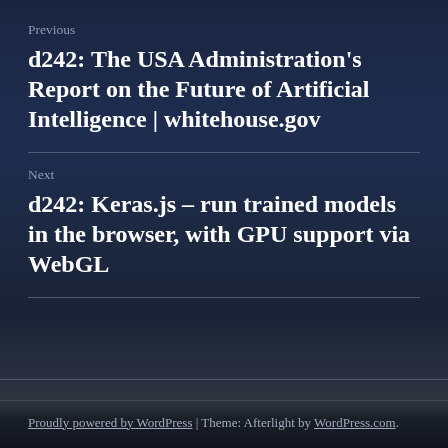Previous
d242: The USA Administration's Report on the Future of Artificial Intelligence | whitehouse.gov
Next
d242: Keras.js – run trained models in the browser, with GPU support via WebGL
Proudly powered by WordPress | Theme: Afterlight by WordPress.com.